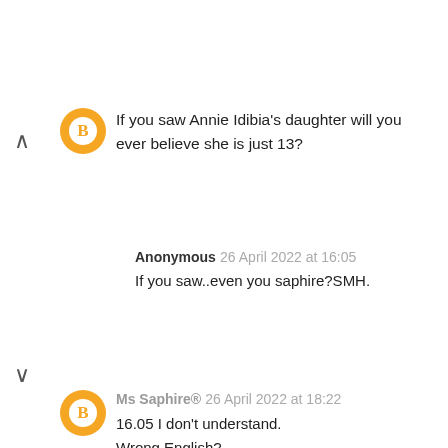If you saw Annie Idibia's daughter will you ever believe she is just 13?
Anonymous 26 April 2022 at 16:05
If you saw..even you saphire?SMH.
Ms Saphire® 26 April 2022 at 18:22
16.05 I don't understand.
Wrong English?